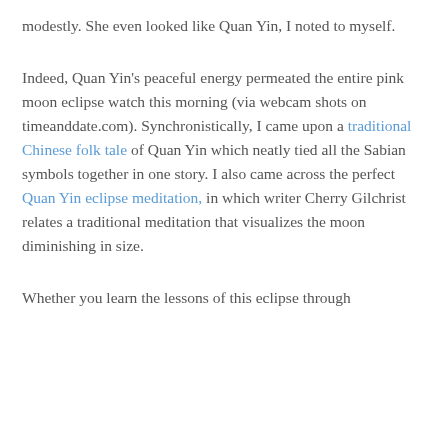modestly. She even looked like Quan Yin, I noted to myself.
Indeed, Quan Yin's peaceful energy permeated the entire pink moon eclipse watch this morning (via webcam shots on timeanddate.com). Synchronistically, I came upon a traditional Chinese folk tale of Quan Yin which neatly tied all the Sabian symbols together in one story. I also came across the perfect Quan Yin eclipse meditation, in which writer Cherry Gilchrist relates a traditional meditation that visualizes the moon diminishing in size.
Whether you learn the lessons of this eclipse through